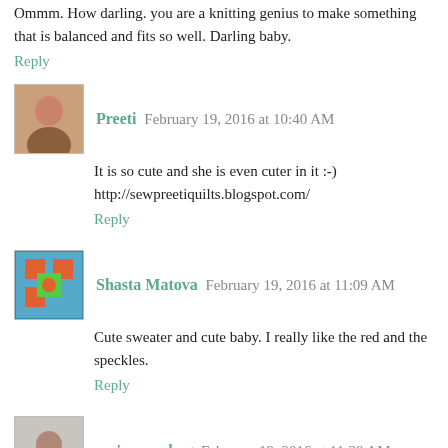Ommm. How darling. you are a knitting genius to make something that is balanced and fits so well. Darling baby.
Reply
Preeti February 19, 2016 at 10:40 AM
It is so cute and she is even cuter in it :-) http://sewpreetiquilts.blogspot.com/
Reply
Shasta Matova February 19, 2016 at 11:09 AM
Cute sweater and cute baby. I really like the red and the speckles.
Reply
em's scrapbag February 19, 2016 at 11:39 AM
Darling
Reply